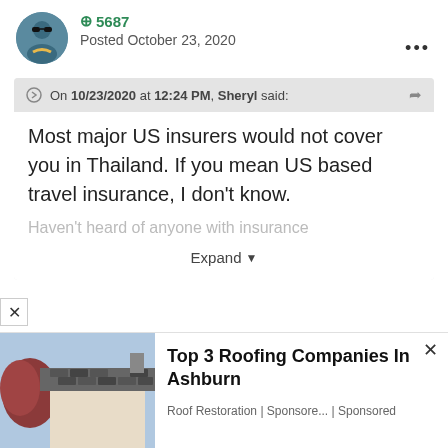[Figure (photo): User avatar photo of a person wearing sunglasses]
⊕ 5687
Posted October 23, 2020
On 10/23/2020 at 12:24 PM, Sheryl said:
Most major US insurers would not cover you in Thailand. If you mean US based travel insurance, I don't know.
Haven't heard of anyone with insurance
Expand
[Figure (photo): Advertisement photo showing roofing/damaged roof tiles]
Top 3 Roofing Companies In Ashburn
Roof Restoration | Sponsore... | Sponsored